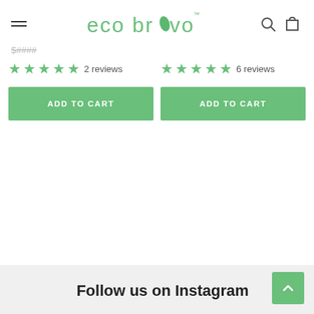eco bravo
2 reviews
6 reviews
ADD TO CART
ADD TO CART
Follow us on Instagram